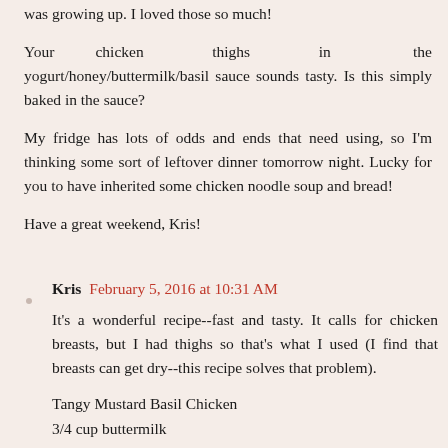was growing up. I loved those so much!
Your chicken thighs in the yogurt/honey/buttermilk/basil sauce sounds tasty. Is this simply baked in the sauce?
My fridge has lots of odds and ends that need using, so I'm thinking some sort of leftover dinner tomorrow night. Lucky for you to have inherited some chicken noodle soup and bread!
Have a great weekend, Kris!
Kris  February 5, 2016 at 10:31 AM
It's a wonderful recipe--fast and tasty. It calls for chicken breasts, but I had thighs so that's what I used (I find that breasts can get dry--this recipe solves that problem).
Tangy Mustard Basil Chicken
3/4 cup buttermilk